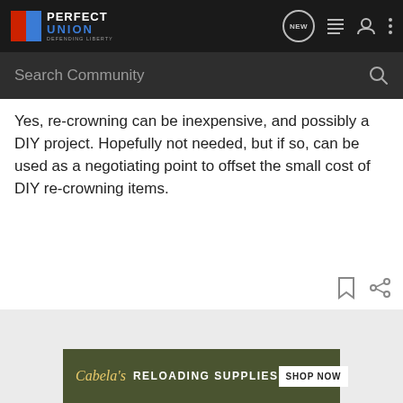Perfect Union — Defending Liberty
Yes, re-crowning can be inexpensive, and possibly a DIY project. Hopefully not needed, but if so, can be used as a negotiating point to offset the small cost of DIY re-crowning items.
[Figure (screenshot): Cabela's advertisement banner: Cabela's logo, text RELOADING SUPPLIES, and SHOP NOW button on dark olive background]